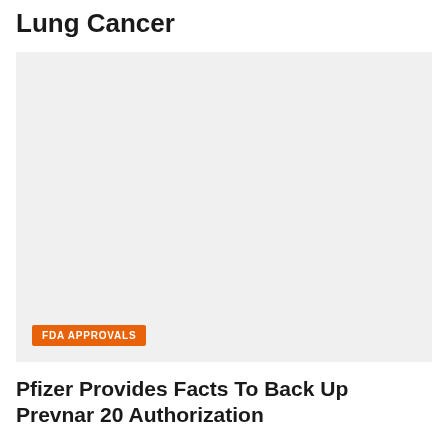Lung Cancer
[Figure (photo): Large image placeholder with light gray background and an orange FDA APPROVALS badge in the lower left corner]
Pfizer Provides Facts To Back Up Prevnar 20 Authorization